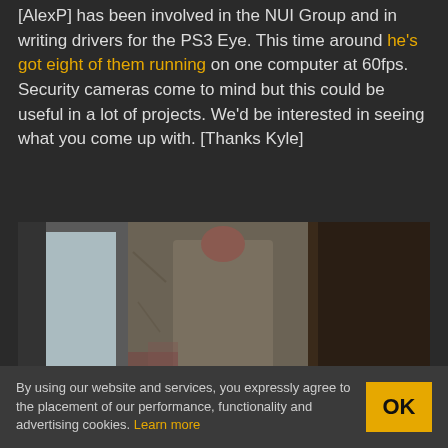[AlexP] has been involved in the NUI Group and in writing drivers for the PS3 Eye. This time around he's got eight of them running on one computer at 60fps. Security cameras come to mind but this could be useful in a lot of projects. We'd be interested in seeing what you come up with. [Thanks Kyle]
[Figure (photo): A person in a grey/brown coat seen from behind, standing near a dark doorway and a light-colored wall.]
By using our website and services, you expressly agree to the placement of our performance, functionality and advertising cookies. Learn more